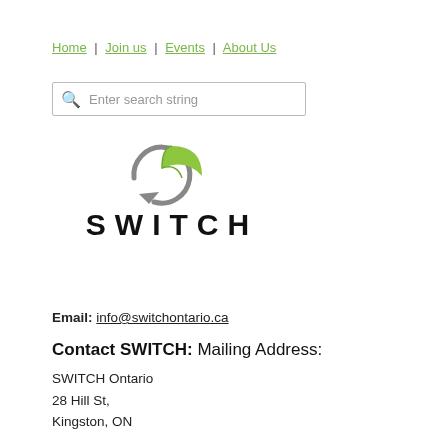Home | Join us | Events | About Us
[Figure (logo): SWITCH Ontario logo: a circular arrow with a green leaf, and the word SWITCH in bold wide-spaced capital letters below]
Email: info@switchontario.ca
Contact SWITCH: Mailing Address:
SWITCH Ontario
28 Hill St,
Kingston, ON